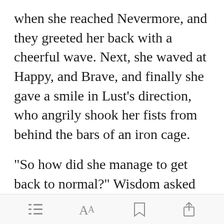when she reached Nevermore, and they greeted her back with a cheerful wave. Next, she waved at Happy, and Brave, and finally she gave a smile in Lust's direction, who angrily shook her fists from behind the bars of an iron cage.

"So how did she manage to get back to normal?" Wisdom asked Knowledge. "S[Open in app]er diary back
[menu icon] [font icon] [bookmark icon] [share icon]